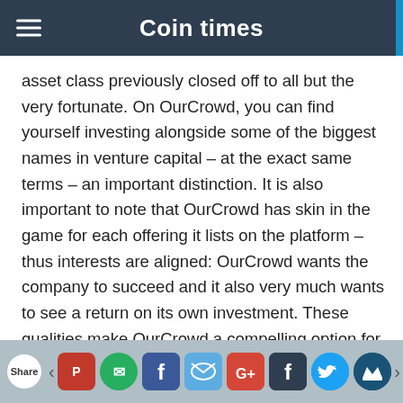Coin times
asset class previously closed off to all but the very fortunate. On OurCrowd, you can find yourself investing alongside some of the biggest names in venture capital – at the exact same terms – an important distinction. It is also important to note that OurCrowd has skin in the game for each offering it lists on the platform – thus interests are aligned: OurCrowd wants the company to succeed and it also very much wants to see a return on its own investment. These qualities make OurCrowd a compelling option for investors that are willing to shoulder an element of
Share [social share buttons: Pinterest, WhatsApp, Facebook, Email, Google+, Facebook, Twitter, Crown]